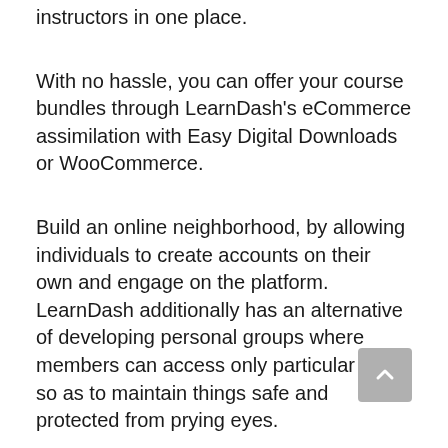instructors in one place.
With no hassle, you can offer your course bundles through LearnDash's eCommerce assimilation with Easy Digital Downloads or WooCommerce.
Build an online neighborhood, by allowing individuals to create accounts on their own and engage on the platform. LearnDash additionally has an alternative of developing personal groups where members can access only particular info so as to maintain things safe and protected from prying eyes.
This means that may be made use of for